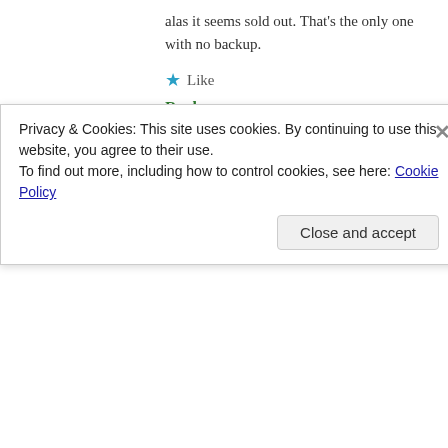alas it seems sold out. That's the only one with no backup.
★ Like
Reply
[Figure (illustration): Circular avatar with blue background showing a hand and flower/mushroom image with gold border]
Undina | August 8, 2021 at 10:25 pm
I'm not sure if this site is legitimate, but they seem to have it: https://www.jomashop.com/neroli-outrenoir-by-guerlain-2-5-oz-75-ml-3346470175808.html
Privacy & Cookies: This site uses cookies. By continuing to use this website, you agree to their use.
To find out more, including how to control cookies, see here: Cookie Policy
Close and accept